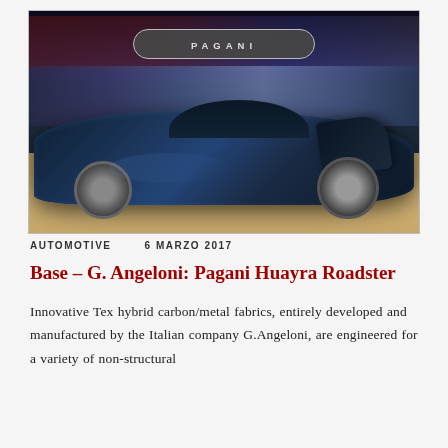[Figure (photo): Pagani Huayra Roadster supercar on display at an auto show, with the Pagani logo oval sign visible above. The dark blue carbon fiber car has its door open, set against a beige exhibition floor background.]
AUTOMOTIVE    6 MARZO 2017
Base – G. Angeloni: Pagani Huayra Roadster
Innovative Tex hybrid carbon/metal fabrics, entirely developed and manufactured by the Italian company G.Angeloni, are engineered for a variety of non-structural